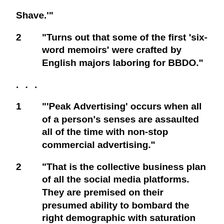Shave.'”
2	“Turns out that some of the first ‘six-word memoirs’ were crafted by English majors laboring for BBDO.”
. . .
1	“‘Peak Advertising’ occurs when all of a person’s senses are assaulted all of the time with non-stop commercial advertising.”
2	“That is the collective business plan of all the social media platforms.  They are premised on their presumed ability to bombard the right demographic with saturation advertising all the time.”
1	“At some time, the marginal utility of each